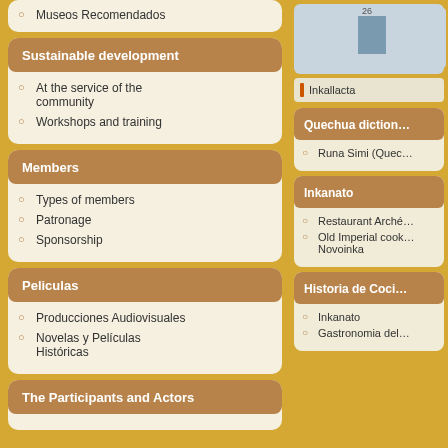Museos Recomendados
Sustainable development
At the service of the community
Workshops and training
Members
Types of members
Patronage
Sponsorship
Peliculas
Producciones Audiovisuales
Novelas y Peliculas Históricas
The Participants and Actors
[Figure (bar-chart): Bar chart showing value 26, partially visible]
Inkallacta
Quechua diction
Runa Simi (Quec…
Inkanato
Restaurant Arché…
Old Imperial cook… Novoinka
Historia de Coci…
Inkanato
Gastronomia del…